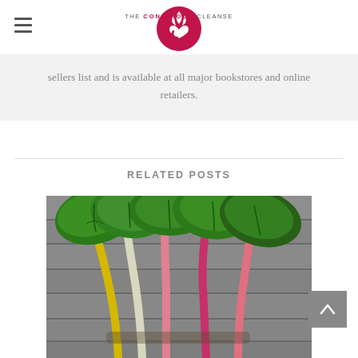The Conscious Cleanse
sellers list and is available at all major bookstores and online retailers.
RELATED POSTS
[Figure (photo): Photo of colorful Swiss chard leaves with rainbow-colored stems (yellow, white, pink, magenta) laid on a wooden surface, viewed from above.]